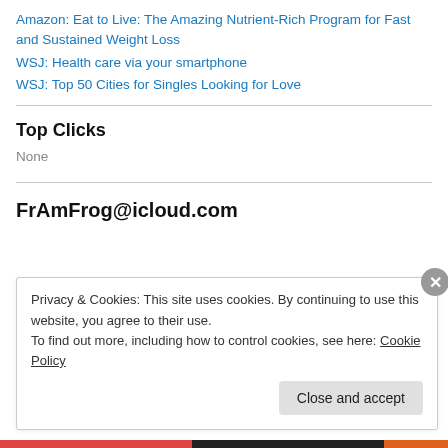Amazon: Eat to Live: The Amazing Nutrient-Rich Program for Fast and Sustained Weight Loss
WSJ: Health care via your smartphone
WSJ: Top 50 Cities for Singles Looking for Love
Top Clicks
None
FrAmFrog@icloud.com
Privacy & Cookies: This site uses cookies. By continuing to use this website, you agree to their use.
To find out more, including how to control cookies, see here: Cookie Policy
Close and accept